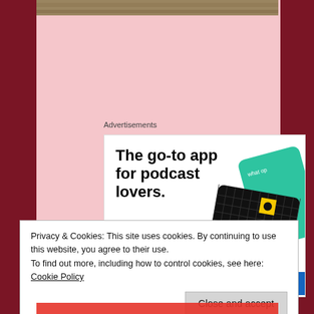[Figure (photo): Top strip of a photograph visible at the very top of the page]
Advertisements
[Figure (illustration): Advertisement banner: 'The go-to app for podcast lovers. Download now' with podcast app card graphics including 99% Invisible]
Privacy & Cookies: This site uses cookies. By continuing to use this website, you agree to their use.
To find out more, including how to control cookies, see here: Cookie Policy
Close and accept